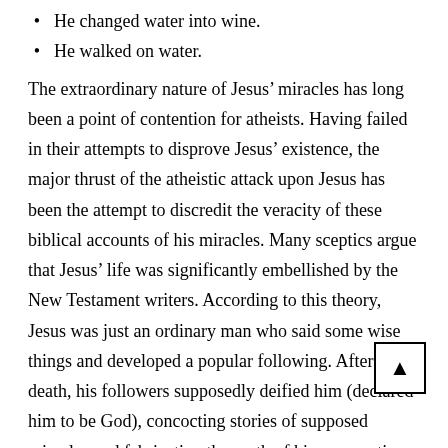He changed water into wine.
He walked on water.
The extraordinary nature of Jesus’ miracles has long been a point of contention for atheists. Having failed in their attempts to disprove Jesus’ existence, the major thrust of the atheistic attack upon Jesus has been the attempt to discredit the veracity of these biblical accounts of his miracles. Many sceptics argue that Jesus’ life was significantly embellished by the New Testament writers. According to this theory, Jesus was just an ordinary man who said some wise things and developed a popular following. After his death, his followers supposedly deified him (declared him to be God), concocting stories of supposed miracles and fabricating the myth of his resurrection.
This view was expressed and popularised by the liberal